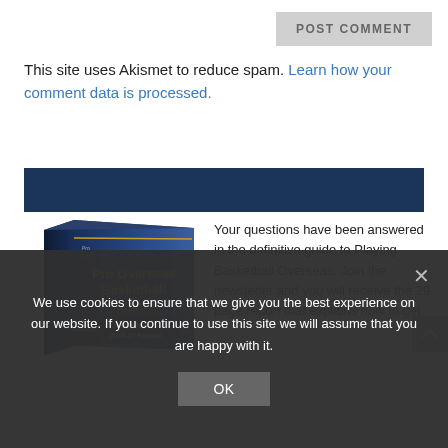POST COMMENT
This site uses Akismet to reduce spam. Learn how your comment data is processed.
[Figure (other): Dark navy blue horizontal banner bar]
[Figure (illustration): Book cover illustration: Pro Overseas Basketball Teams Contacts 2016-17 Season, blue book with gold text]
Your questions have been answered in the definitive guide to Playing Basketball Overseas. Join the newsletter and you will receive the 29 page report that explains how to get
We use cookies to ensure that we give you the best experience on our website. If you continue to use this site we will assume that you are happy with it.
OK